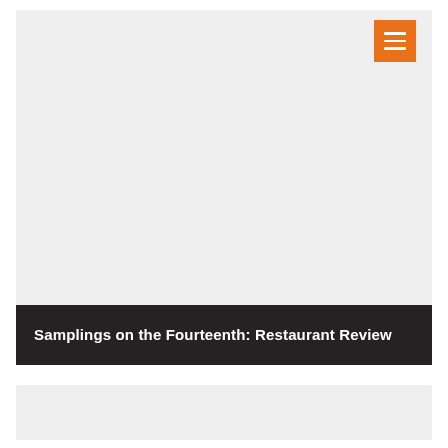[Figure (photo): Large image placeholder area with light gray background, with an orange hamburger menu button in the top-right corner]
Samplings on the Fourteenth: Restaurant Review
[Figure (photo): Small image placeholder area with light gray background at the bottom of the page]